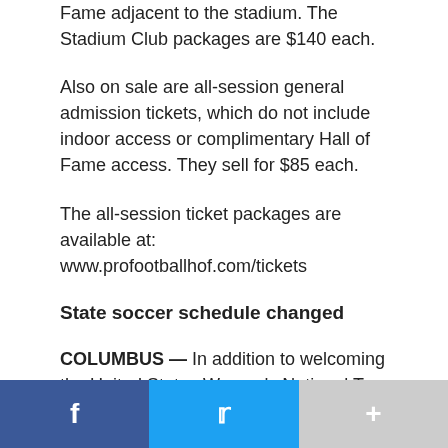Fame adjacent to the stadium. The Stadium Club packages are $140 each.
Also on sale are all-session general admission tickets, which do not include indoor access or complimentary Hall of Fame access. They sell for $85 each.
The all-session ticket packages are available at: www.profootballhof.com/tickets
State soccer schedule changed
COLUMBUS — In addition to welcoming the United States Women's National Team (USWNT) to Columbus in November, the Ohio High School Athletic Association has announced that the OHSAA soccer state championship games at MAPFRE Stadium will take place a day later than previously announced due to the schedule that week at the stadium. The OHSAA soccer finals will now take place on
f  [twitter]  +